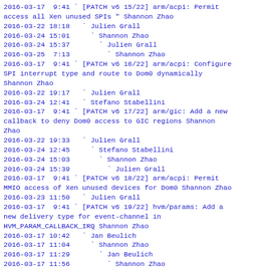2016-03-17  9:41 ` [PATCH v6 15/22] arm/acpi: Permit access all Xen unused SPIs " Shannon Zhao
2016-03-22 18:18   ` Julien Grall
2016-03-24 15:01     ` Shannon Zhao
2016-03-24 15:37       ` Julien Grall
2016-03-25  7:13         ` Shannon Zhao
2016-03-17  9:41 ` [PATCH v6 16/22] arm/acpi: Configure SPI interrupt type and route to Dom0 dynamically Shannon Zhao
2016-03-22 19:17   ` Julien Grall
2016-03-24 12:41   ` Stefano Stabellini
2016-03-17  9:41 ` [PATCH v6 17/22] arm/gic: Add a new callback to deny Dom0 access to GIC regions Shannon Zhao
2016-03-22 19:33   ` Julien Grall
2016-03-24 12:45     ` Stefano Stabellini
2016-03-24 15:03       ` Shannon Zhao
2016-03-24 15:39         ` Julien Grall
2016-03-17  9:41 ` [PATCH v6 18/22] arm/acpi: Permit MMIO access of Xen unused devices for Dom0 Shannon Zhao
2016-03-23 11:50   ` Julien Grall
2016-03-17  9:41 ` [PATCH v6 19/22] hvm/params: Add a new delivery type for event-channel in HVM_PARAM_CALLBACK_IRQ Shannon Zhao
2016-03-17 10:42   ` Jan Beulich
2016-03-17 11:04     ` Shannon Zhao
2016-03-17 11:29       ` Jan Beulich
2016-03-17 11:56         ` Shannon Zhao
2016-03-17 12:42           ` Jan Beulich
2016-03-17  9:41 ` [PATCH v6 20/22] xen/acpi: Fix